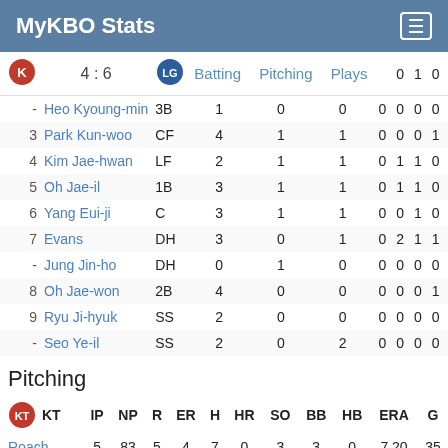MyKBO Stats
|  | Name | Pos | AB | R | H | HR | RBI | BB | SO | HBP |
| --- | --- | --- | --- | --- | --- | --- | --- | --- | --- | --- |
|  | 4 : 6 |  | Batting | Pitching | Plays |  | 0 | 1 | 0 |  |
| - | Heo Kyoung-min | 3B | 1 | 0 | 0 | 0 | 0 | 0 | 0 | 0 |
| 3 | Park Kun-woo | CF | 4 | 1 | 1 | 0 | 0 | 0 | 1 | 0 |
| 4 | Kim Jae-hwan | LF | 2 | 1 | 1 | 0 | 1 | 1 | 0 | 0 |
| 5 | Oh Jae-il | 1B | 3 | 1 | 1 | 0 | 1 | 1 | 0 | 0 |
| 6 | Yang Eui-ji | C | 3 | 1 | 1 | 0 | 0 | 1 | 0 | 0 |
| 7 | Evans | DH | 3 | 0 | 1 | 0 | 2 | 1 | 1 | 0 |
| - | Jung Jin-ho | DH | 0 | 1 | 0 | 0 | 0 | 0 | 0 | 0 |
| 8 | Oh Jae-won | 2B | 4 | 0 | 0 | 0 | 0 | 0 | 1 | 0 |
| 9 | Ryu Ji-hyuk | SS | 2 | 0 | 0 | 0 | 0 | 0 | 0 | 0 |
| - | Seo Ye-il | SS | 2 | 0 | 2 | 0 | 0 | 0 | 0 | 0 |
Pitching
| KT | IP | NP | R | ER | H | HR | SO | BB | HB | ERA | G |
| --- | --- | --- | --- | --- | --- | --- | --- | --- | --- | --- | --- |
| Roach | 5 | 83 | 5 | 4 | 7 | 0 | 3 | 3 | 0 | 7.20 | 35 |